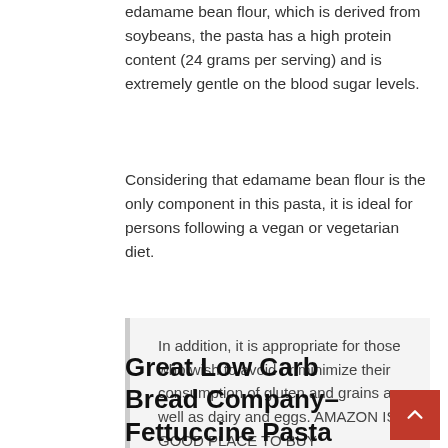edamame bean flour, which is derived from soybeans, the pasta has a high protein content (24 grams per serving) and is extremely gentle on the blood sugar levels.
Considering that edamame bean flour is the only component in this pasta, it is ideal for persons following a vegan or vegetarian diet.
In addition, it is appropriate for those who wish to avoid or minimize their consumption of gluten and grains as well as dairy and eggs. AMAZON IS A GOOD PLACE TO BUY
Great Low Carb Bread Company– Fettuccine Pasta